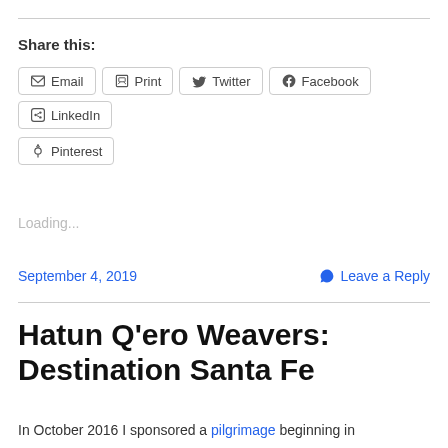Share this:
Email
Print
Twitter
Facebook
LinkedIn
Pinterest
Loading...
September 4, 2019
Leave a Reply
Hatun Q’ero Weavers: Destination Santa Fe
In October 2016 I sponsored a pilgrimage beginning in Bolivia that ended in the Hatun Q’ero village of